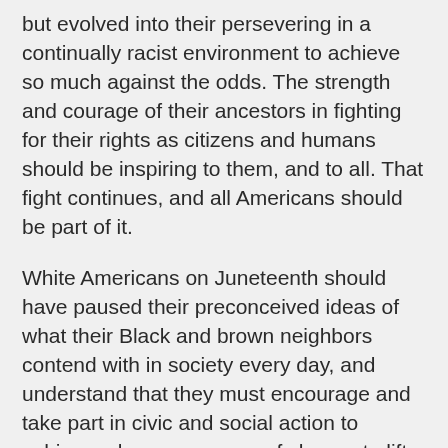but evolved into their persevering in a continually racist environment to achieve so much against the odds. The strength and courage of their ancestors in fighting for their rights as citizens and humans should be inspiring to them, and to all. That fight continues, and all Americans should be part of it.
White Americans on Juneteenth should have paused their preconceived ideas of what their Black and brown neighbors contend with in society every day, and understand that they must encourage and take part in civic and social action to achieve a larger measure of change to lift all Americans up in a real way now.